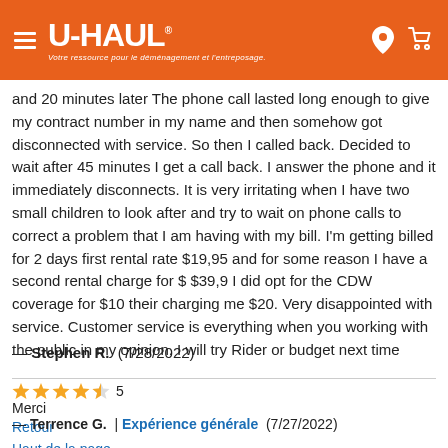U-HAUL — Votre ressource pour le déménagement et l'entreposage.
and 20 minutes later The phone call lasted long enough to give my contract number in my name and then somehow got disconnected with service. So then I called back. Decided to wait after 45 minutes I get a call back. I answer the phone and it immediately disconnects. It is very irritating when I have two small children to look after and try to wait on phone calls to correct a problem that I am having with my bill. I'm getting billed for 2 days first rental rate $19,95 and for some reason I have a second rental charge for $ $39,9 I did opt for the CDW coverage for $10 their charging me $20. Very disappointed with service. Customer service is everything when you working with the public in my opinion. I will try Rider or budget next time
— Stephen R.  (7/28/2022)
5 — Terrence G.  | Expérience générale  (7/27/2022)